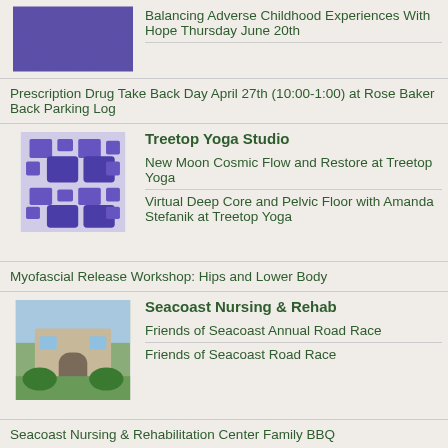Balancing Adverse Childhood Experiences With Hope Thursday June 20th
Prescription Drug Take Back Day April 27th (10:00-1:00) at Rose Baker Back Parking Log
Treetop Yoga Studio – New Moon Cosmic Flow and Restore at Treetop Yoga; Virtual Deep Core and Pelvic Floor with Amanda Stefanik at Treetop Yoga
Myofascial Release Workshop: Hips and Lower Body
Seacoast Nursing & Rehab – Friends of Seacoast Annual Road Race; Friends of Seacoast Road Race
Seacoast Nursing & Rehabilitation Center Family BBQ
lstephensherbtechpharmacom – Need Some Help Getting Accustomed to What Was